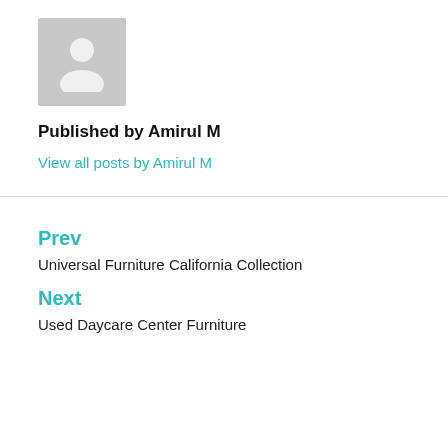[Figure (illustration): Grey placeholder avatar image showing a generic person silhouette]
Published by Amirul M
View all posts by Amirul M
Prev
Universal Furniture California Collection
Next
Used Daycare Center Furniture